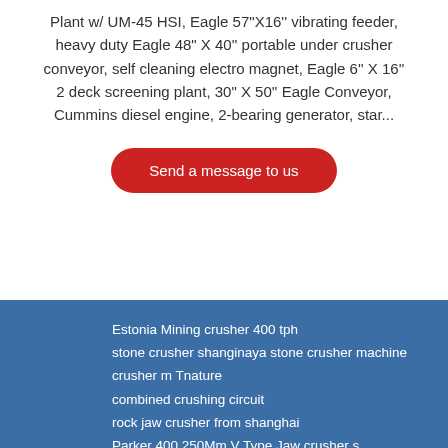Plant w/ UM-45 HSI, Eagle 57"X16'' vibrating feeder, heavy duty Eagle 48" X 40'' portable under crusher conveyor, self cleaning electro magnet, Eagle 6'' X 16'' 2 deck screening plant, 30" X 50'' Eagle Conveyor, Cummins diesel engine, 2-bearing generator, star...
[Figure (other): Red rounded rectangle button labeled 'Send a message to us']
[Figure (illustration): Live Chat speech bubble widget with blue chat bubble, small fish icon, and 'x' close button]
Estonia Mining crusher 400 tph
stone crusher shanginaya stone crusher machine
crusher m Tnature
combined crushing circuit
rock jaw crusher from shanghai
Parker 400 250Mm V Type Jaw crusher s
Crusher 360 tph Angola
rock crusher portable chinese
send hand mobile crusher south africa
machine for micro powder making machine equipment